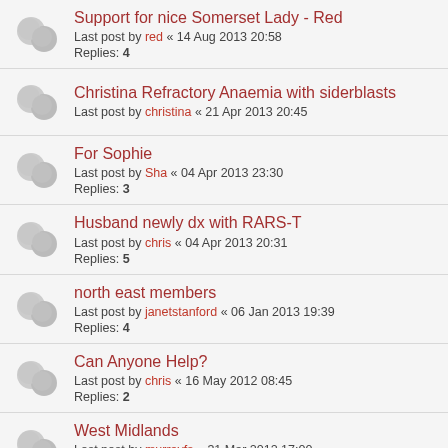Support for nice Somerset Lady - Red
Last post by red « 14 Aug 2013 20:58
Replies: 4
Christina Refractory Anaemia with siderblasts
Last post by christina « 21 Apr 2013 20:45
For Sophie
Last post by Sha « 04 Apr 2013 23:30
Replies: 3
Husband newly dx with RARS-T
Last post by chris « 04 Apr 2013 20:31
Replies: 5
north east members
Last post by janetstanford « 06 Jan 2013 19:39
Replies: 4
Can Anyone Help?
Last post by chris « 16 May 2012 08:45
Replies: 2
West Midlands
Last post by murrayfs « 31 Mar 2012 17:00
Replies: 2